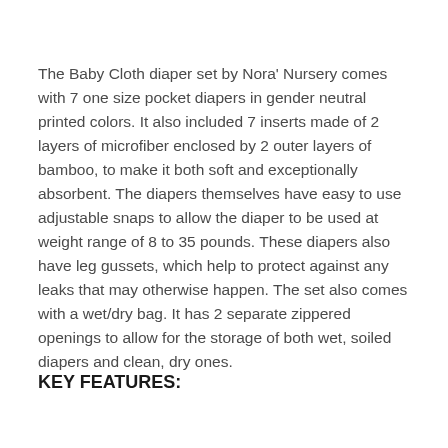The Baby Cloth diaper set by Nora' Nursery comes with 7 one size pocket diapers in gender neutral printed colors. It also included 7 inserts made of 2 layers of microfiber enclosed by 2 outer layers of bamboo, to make it both soft and exceptionally absorbent. The diapers themselves have easy to use adjustable snaps to allow the diaper to be used at weight range of 8 to 35 pounds. These diapers also have leg gussets, which help to protect against any leaks that may otherwise happen. The set also comes with a wet/dry bag. It has 2 separate zippered openings to allow for the storage of both wet, soiled diapers and clean, dry ones.
KEY FEATURES: